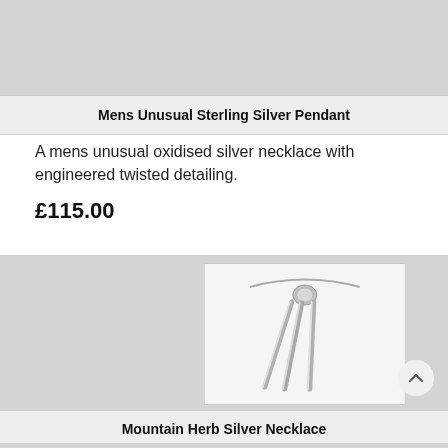[Figure (photo): Grey placeholder image area at the top of the page]
Mens Unusual Sterling Silver Pendant
A mens unusual oxidised silver necklace with engineered twisted detailing.
£115.00
[Figure (photo): Product photo of a sterling silver pendant with twisted detailing hanging on a chain, shown on light background]
Mountain Herb Silver Necklace